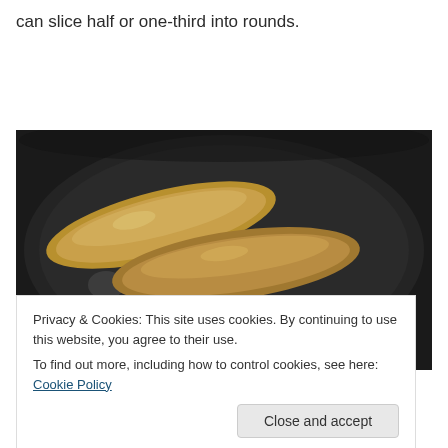can slice half or one-third into rounds.
[Figure (photo): Two sausages cooking in a dark frying pan, golden brown in color.]
Privacy & Cookies: This site uses cookies. By continuing to use this website, you agree to their use.
To find out more, including how to control cookies, see here: Cookie Policy
side of each slice of bread.